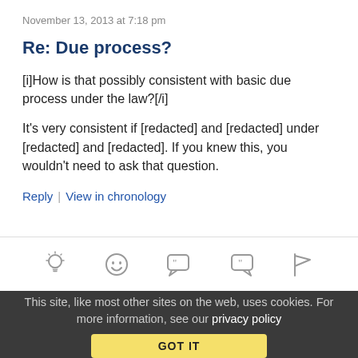November 13, 2013 at 7:18 pm
Re: Due process?
[i]How is that possibly consistent with basic due process under the law?[/i]
It's very consistent if [redacted] and [redacted] under [redacted] and [redacted]. If you knew this, you wouldn't need to ask that question.
Reply | View in chronology
[Figure (infographic): Row of five icon buttons: lightbulb, laughing emoji, speech bubble with open quote, speech bubble with close quote, flag]
This site, like most other sites on the web, uses cookies. For more information, see our privacy policy GOT IT